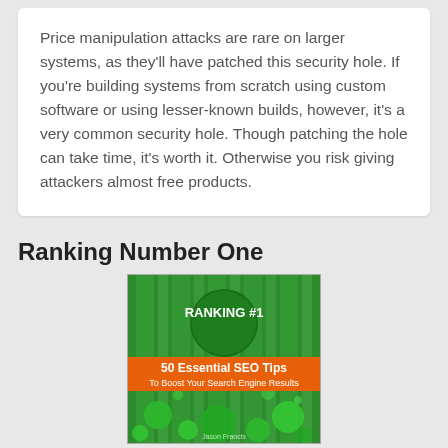Price manipulation attacks are rare on larger systems, as they'll have patched this security hole. If you're building systems from scratch using custom software or using lesser-known builds, however, it's a very common security hole. Though patching the hole can take time, it's worth it. Otherwise you risk giving attackers almost free products.
Ranking Number One
[Figure (illustration): Book cover for 'Ranking #1: 50 Essential SEO Tips To Boost Your Search Engine Results'. Green background with bubbles/circles, a dark green circular badge with 'RANKING #1' text in white, and an orange banner with the subtitle text.]